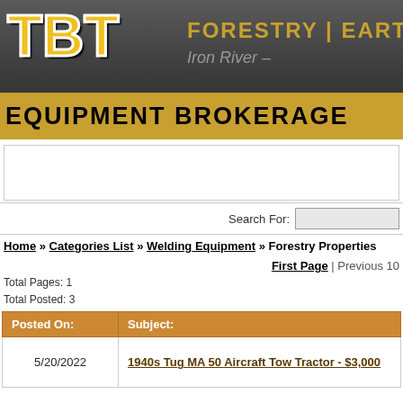[Figure (logo): TBT Equipment Brokerage logo banner with gold TBT letters, 'FORESTRY | EARTH' text, 'Iron River –' subtext, and 'EQUIPMENT BROKERAGE' bar]
Search For:
Home » Categories List » Welding Equipment » Forestry Properties
First Page | Previous 10
Total Pages: 1
Total Posted: 3
| Posted On: | Subject: |
| --- | --- |
| 5/20/2022 | 1940s Tug MA 50 Aircraft Tow Tractor - $3,000 |